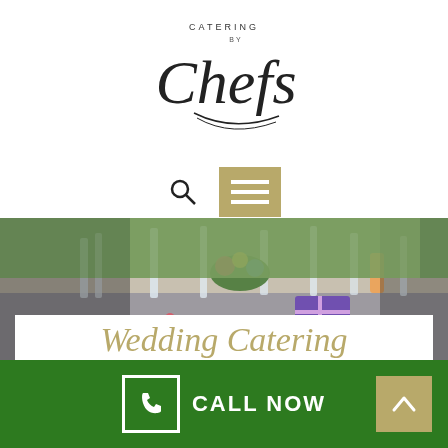[Figure (logo): Catering by Chefs logo with cursive Chefs text and decorative swash]
[Figure (other): Search icon (magnifying glass) and hamburger menu icon on tan/gold background]
[Figure (photo): Catering table setup with glasses, flowers, plates and gifts for a wedding reception]
Wedding Catering
We understand how important it is to have the right food to make your function memorable. We're committed to presenting you with a personal catering experience.
[Figure (other): Green footer bar with CALL NOW button and phone icon, and gold up-arrow button]